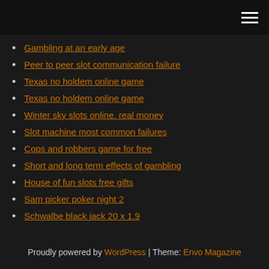Gambling at an early age
Peer to peer slot communication failure
Texas no holdem online game
Texas no holdem online game
Winter sky slots online. real money
Slot machine most common failures
Cops and robbers game for free
Short and long term effects of gambling
House of fun slots free gifts
Sam picker poker night 2
Schwalbe black jack 20 x 1.9
Proudly powered by WordPress | Theme: Envo Magazine